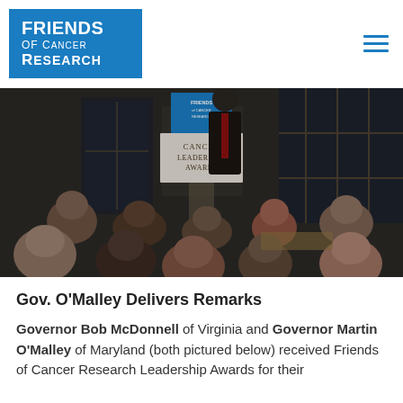Friends of Cancer Research
[Figure (photo): A speaker at a podium with 'Cancer Leadership Awards' and 'Friends of Cancer Research' signage, addressing an audience seated with their backs to the camera, in an indoor evening venue.]
Gov. O'Malley Delivers Remarks
Governor Bob McDonnell of Virginia and Governor Martin O'Malley of Maryland (both pictured below) received Friends of Cancer Research Leadership Awards for their